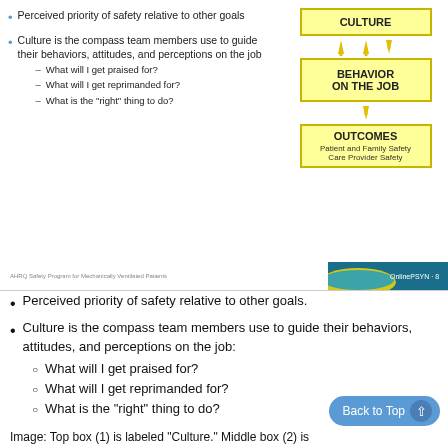[Figure (flowchart): Slide showing bullet points on left and a three-box flowchart diagram on right: CULTURE (top) with bidirectional arrows to BEHAVIOR ON THE JOB (middle) and downward arrow to OUTCOMES (bottom, listing Patient and Family Safety and Care Provider Safety).]
Perceived priority of safety relative to other goals.
Culture is the compass team members use to guide their behaviors, attitudes, and perceptions on the job:
What will I get praised for?
What will I get reprimanded for?
What is the "right" thing to do?
Image: Top box (1) is labeled "Culture." Middle box (2) is